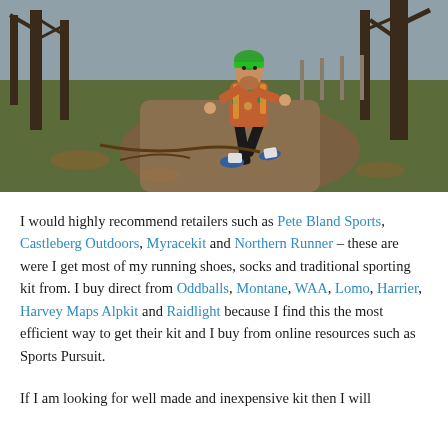[Figure (photo): A trail runner wearing a green beanie hat, colorful jacket, and black shorts running downhill through a wooded area with bare trees. The runner is mid-stride on a muddy woodland path.]
I would highly recommend retailers such as Pete Bland Sports, Castleberg Outdoors, Myracekit and Northern Runner – these are were I get most of my running shoes, socks and traditional sporting kit from. I buy direct from Oddballs, Montane, WAA, Lomo, Harrier, Harvey Maps Alpkit and Raidlight because I find this the most efficient way to get their kit and I buy from online resources such as Sports Pursuit.
If I am looking for well made and inexpensive kit then I will